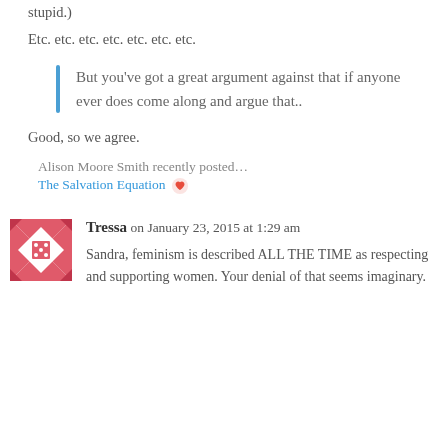stupid.)
Etc. etc. etc. etc. etc. etc. etc.
But you've got a great argument against that if anyone ever does come along and argue that..
Good, so we agree.
Alison Moore Smith recently posted…
The Salvation Equation ❤
Tressa on January 23, 2015 at 1:29 am
Sandra, feminism is described ALL THE TIME as respecting and supporting women. Your denial of that seems imaginary.